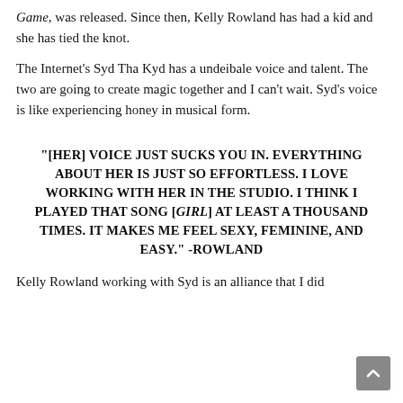Game, was released. Since then, Kelly Rowland has had a kid and she has tied the knot.
The Internet's Syd Tha Kyd has a undeibale voice and talent. The two are going to create magic together and I can't wait. Syd's voice is like experiencing honey in musical form.
"[HER] VOICE JUST SUCKS YOU IN. EVERYTHING ABOUT HER IS JUST SO EFFORTLESS. I LOVE WORKING WITH HER IN THE STUDIO. I THINK I PLAYED THAT SONG [GIRL] AT LEAST A THOUSAND TIMES. IT MAKES ME FEEL SEXY, FEMININE, AND EASY." -ROWLAND
Kelly Rowland working with Syd is an alliance that I did